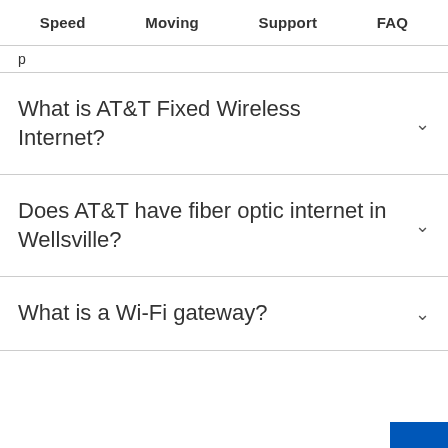Speed  Moving  Support  FAQ
p
What is AT&T Fixed Wireless Internet?
Does AT&T have fiber optic internet in Wellsville?
What is a Wi-Fi gateway?